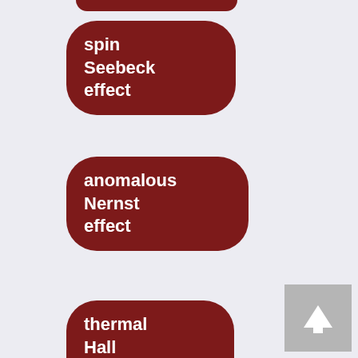[Figure (infographic): Partial pill/tag at top (cropped), then stacked rounded rectangle tags with white text on dark red background: 'spin Seebeck effect', 'anomalous Nernst effect', 'thermal Hall effect', 'photonic crystals', 'clustered eigenvalues', 'zero eigenvalues' (partial). A grey scroll-to-top button at bottom right.]
spin Seebeck effect
anomalous Nernst effect
thermal Hall effect
photonic crystals
clustered eigenvalues
zero eigenvalues